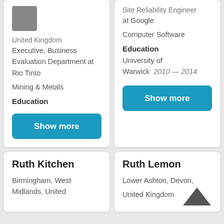United Kingdom
Executive, Business Evaluation Department at Rio Tinto
Mining & Metals
Education
Show more
Site Reliability Engineer at Google
Computer Software
Education
University of Warwick  2010 — 2014
Show more
Ruth Kitchen
Birmingham, West Midlands, United
Ruth Lemon
Lower Ashton, Devon, United Kingdom